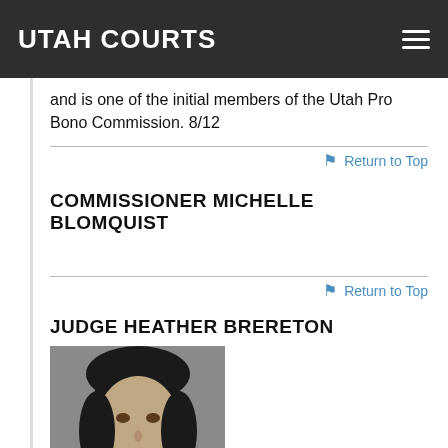UTAH COURTS
and is one of the initial members of the Utah Pro Bono Commission. 8/12
Return to Top
COMMISSIONER MICHELLE BLOMQUIST
Return to Top
JUDGE HEATHER BRERETON
[Figure (photo): Black and white headshot photo of Judge Heather Brereton, a woman with a short dark bob haircut and bangs, smiling.]